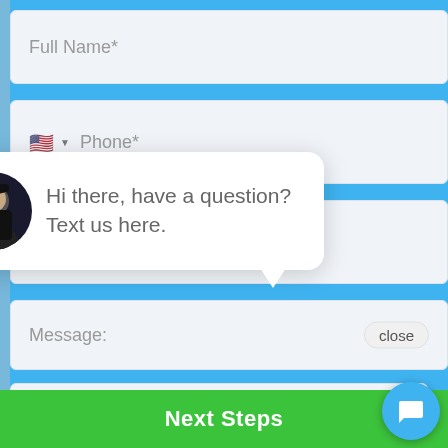[Figure (screenshot): Web form with fields for Full Name, Phone (with US flag dropdown), Email, and Message. A chat popup overlay shows a person avatar with text 'Hi there, have a question? Text us here.' and a close button. A CAPTCHA checkbox row reads 'I'm not a...' with Privacy/Terms links. A green Next Steps button is at the bottom. A blue chat widget icon is in the bottom right.]